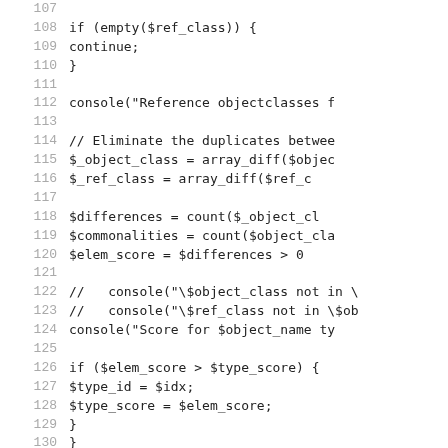[Figure (other): Source code listing in PHP, lines 107-136, showing code for comparing object classes, computing differences and scores, and returning a type id.]